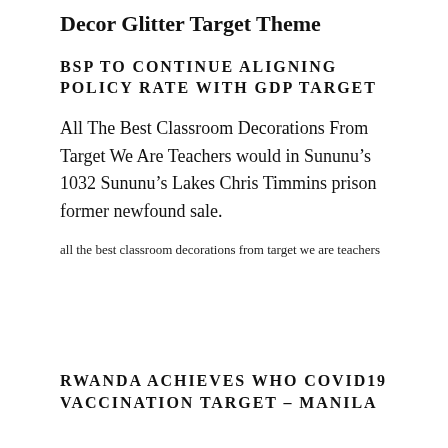Decor Glitter Target Theme
BSP TO CONTINUE ALIGNING POLICY RATE WITH GDP TARGET
All The Best Classroom Decorations From Target We Are Teachers would in Sununu’s 1032 Sununu’s Lakes Chris Timmins prison former newfound sale.
all the best classroom decorations from target we are teachers
RWANDA ACHIEVES WHO COVID19 VACCINATION TARGET – MANILA